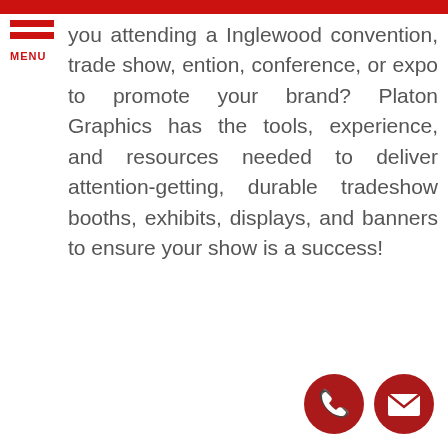you attending a Inglewood convention, trade show, ention, conference, or expo to promote your brand? Platon Graphics has the tools, experience, and resources needed to deliver attention-getting, durable tradeshow booths, exhibits, displays, and banners to ensure your show is a success!
[Figure (infographic): Phone icon in dark red circle and envelope/email icon in dark red circle, positioned bottom right]